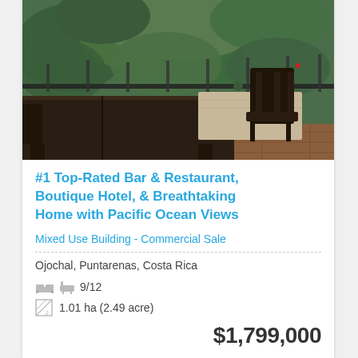[Figure (photo): Outdoor restaurant/bar terrace with dark wooden tables and chairs, lush tropical jungle in background, viewed from elevated deck]
#1 Top-Rated Bar & Restaurant, Boutique Hotel, & Breathtaking Home with Pacific Ocean Views
Mixed Use Building - Commercial Sale
Ojochal, Puntarenas, Costa Rica
9/12
1.01 ha (2.49 acre)
$1,799,000